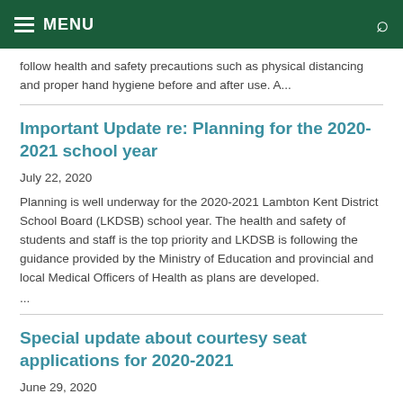MENU
follow health and safety precautions such as physical distancing and proper hand hygiene before and after use. A...
Important Update re: Planning for the 2020-2021 school year
July 22, 2020
Planning is well underway for the 2020-2021 Lambton Kent District School Board (LKDSB) school year. The health and safety of students and staff is the top priority and LKDSB is following the guidance provided by the Ministry of Education and provincial and local Medical Officers of Health as plans are developed.
...
Special update about courtesy seat applications for 2020-2021
June 29, 2020
As a result of the anticipated, significant school bus ridership capacity restrictions related to the COVID-19 pandemic, we are regrettably unable to accept courtesy